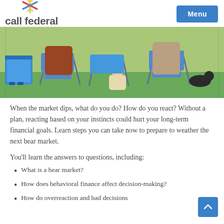call federal — Passionately Local Banking | Menu
[Figure (photo): Outdoor camping/picnic scene showing people sitting in blue folding chairs on grass, with a blue cooler visible on the left.]
When the market dips, what do you do? How do you react? Without a plan, reacting based on your instincts could hurt your long-term financial goals. Learn steps you can take now to prepare to weather the next bear market.
You'll learn the answers to questions, including:
What is a bear market?
How does behavioral finance affect decision-making?
How do overreaction and bad decisions